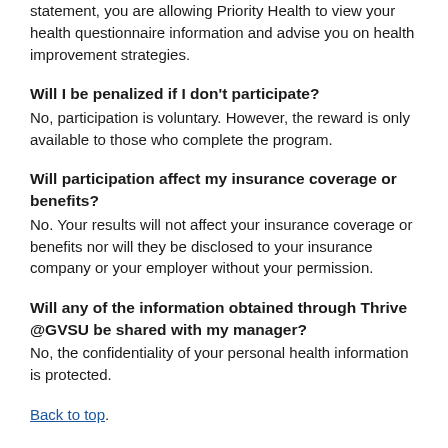statement, you are allowing Priority Health to view your health questionnaire information and advise you on health improvement strategies.
Will I be penalized if I don't participate?
No, participation is voluntary. However, the reward is only available to those who complete the program.
Will participation affect my insurance coverage or benefits?
No. Your results will not affect your insurance coverage or benefits nor will they be disclosed to your insurance company or your employer without your permission.
Will any of the information obtained through Thrive @GVSU be shared with my manager?
No, the confidentiality of your personal health information is protected.
Back to top.